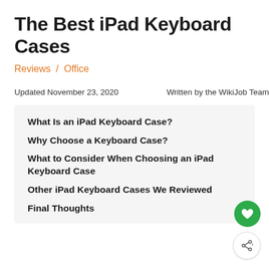The Best iPad Keyboard Cases
Reviews / Office
Updated November 23, 2020    Written by the WikiJob Team
What Is an iPad Keyboard Case?
Why Choose a Keyboard Case?
What to Consider When Choosing an iPad Keyboard Case
Other iPad Keyboard Cases We Reviewed
Final Thoughts